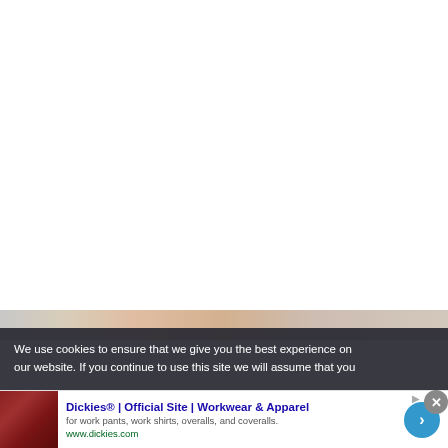[Figure (photo): Partial view of a book or product image at the bottom of a white webpage area]
We use cookies to ensure that we give you the best experience on our website. If you continue to use this site we will assume that you
[Figure (photo): Advertisement banner showing a dark red leather chair or furniture product]
Dickies® | Official Site | Workwear & Apparel
for work pants, work shirts, overalls, and coveralls.
www.dickies.com